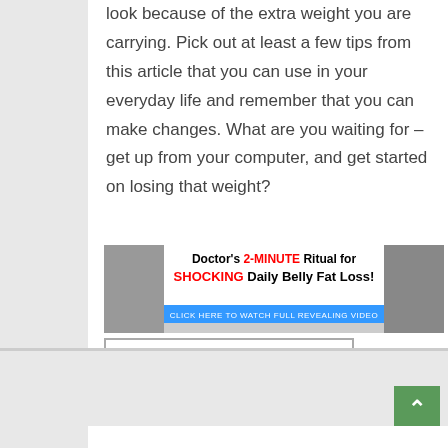look because of the extra weight you are carrying. Pick out at least a few tips from this article that you can use in your everyday life and remember that you can make changes. What are you waiting for – get up from your computer, and get started on losing that weight?
[Figure (infographic): Advertisement banner: Doctor's 2-MINUTE Ritual for SHOCKING Daily Belly Fat Loss! CLICK HERE TO WATCH FULL REVEALING VIDEO]
LEARNING SHED EXCESS POUNDS